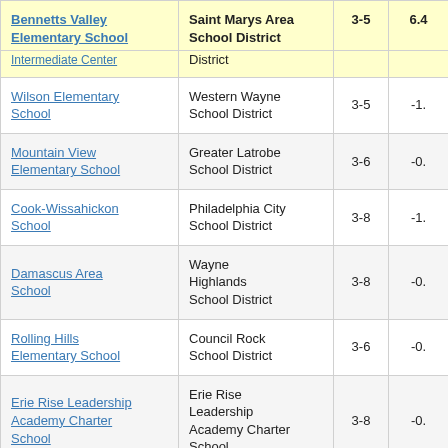| School | District | Grades | Score |
| --- | --- | --- | --- |
| Bennetts Valley Elementary School | Saint Marys Area School District | 3-5 | 6.4... |
| Intermediate Center | District |  |  |
| Wilson Elementary School | Western Wayne School District | 3-5 | -1.... |
| Mountain View Elementary School | Greater Latrobe School District | 3-6 | -0.... |
| Cook-Wissahickon School | Philadelphia City School District | 3-8 | -1.... |
| Damascus Area School | Wayne Highlands School District | 3-8 | -0.... |
| Rolling Hills Elementary School | Council Rock School District | 3-6 | -0.... |
| Erie Rise Leadership Academy Charter School | Erie Rise Leadership Academy Charter School | 3-8 | -0.... |